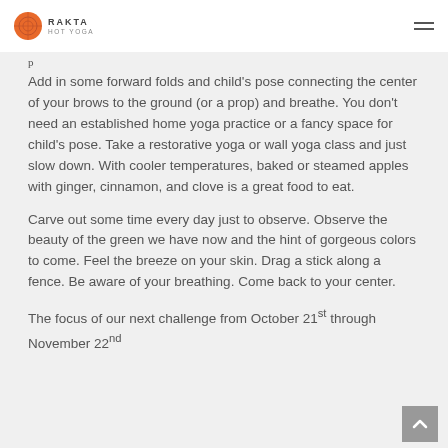RAKTA HOT YOGA
Add in some forward folds and child's pose connecting the center of your brows to the ground (or a prop) and breathe. You don't need an established home yoga practice or a fancy space for child's pose. Take a restorative yoga or wall yoga class and just slow down. With cooler temperatures, baked or steamed apples with ginger, cinnamon, and clove is a great food to eat.
Carve out some time every day just to observe. Observe the beauty of the green we have now and the hint of gorgeous colors to come. Feel the breeze on your skin. Drag a stick along a fence. Be aware of your breathing. Come back to your center.
The focus of our next challenge from October 21st through November 22nd